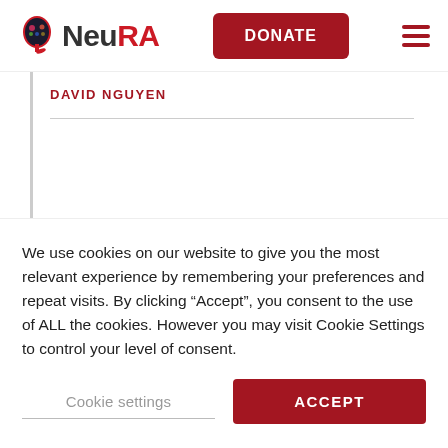[Figure (logo): NeuRA logo with stylized head icon and red NeuRA wordmark]
DONATE
DAVID NGUYEN
We use cookies on our website to give you the most relevant experience by remembering your preferences and repeat visits. By clicking “Accept”, you consent to the use of ALL the cookies. However you may visit Cookie Settings to control your level of consent.
Cookie settings
ACCEPT